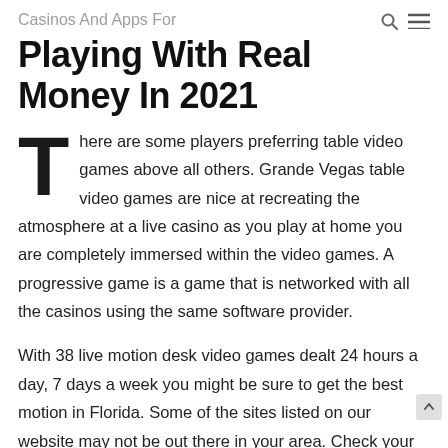Casinos And Apps For
Playing With Real Money In 2021
There are some players preferring table video games above all others. Grande Vegas table video games are nice at recreating the atmosphere at a live casino as you play at home you are completely immersed within the video games. A progressive game is a game that is networked with all the casinos using the same software provider.
With 38 live motion desk video games dealt 24 hours a day, 7 days a week you might be sure to get the best motion in Florida. Some of the sites listed on our website may not be out there in your area. Check your local laws